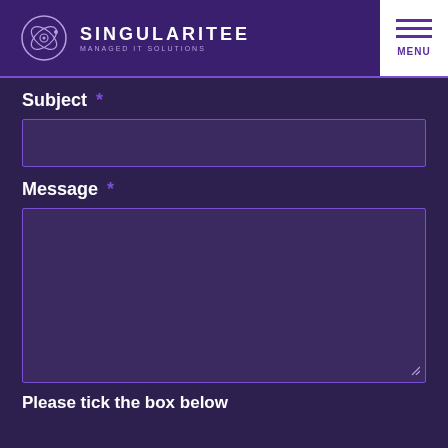SINGULARITEE - MANAGED IT SOLUTIONS - MENU
Subject *
Message *
Please tick the box below